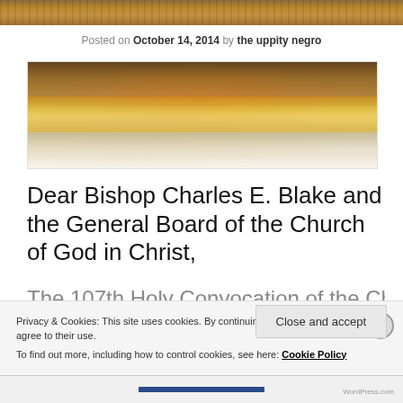[Figure (photo): Top strip of a large crowd/congregation photo, showing a packed arena with orange and warm lighting.]
Posted on October 14, 2014 by the uppity negro
[Figure (photo): Wide-angle photo of a large church congregation gathered in an arena, shot from behind showing thousands of people in white garments, with a stage at the far end lit in red and gold.]
Dear Bishop Charles E. Blake and the General Board of the Church of God in Christ,
The 107th Holy Convocation of the Church of God...
Privacy & Cookies: This site uses cookies. By continuing to use this website, you agree to their use.
To find out more, including how to control cookies, see here: Cookie Policy
Close and accept